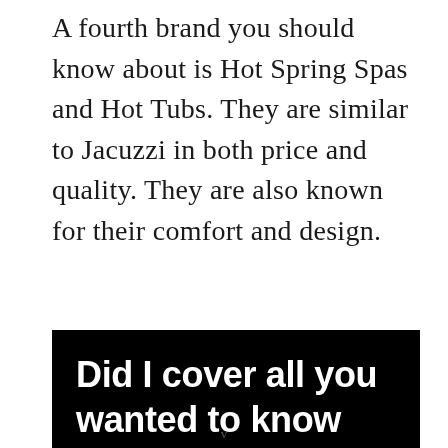A fourth brand you should know about is Hot Spring Spas and Hot Tubs. They are similar to Jacuzzi in both price and quality. They are also known for their comfort and design.
[Figure (other): Black box callout with white bold text reading: Did I cover all you wanted to know about hot tubs, saltwater and if a saltwater hot tub is]
v